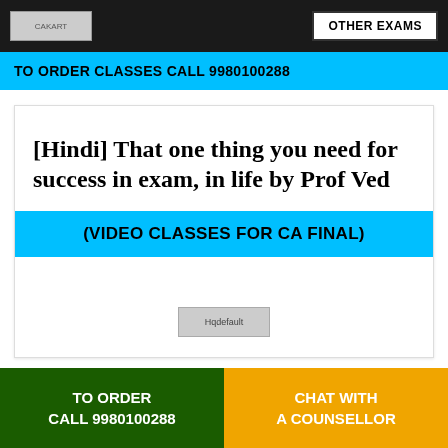CAKART | OTHER EXAMS
TO ORDER CLASSES CALL 9980100288
[Hindi] That one thing you need for success in exam, in life by Prof Ved
(VIDEO CLASSES FOR CA FINAL)
[Figure (photo): Hqdefault thumbnail image placeholder]
TO ORDER CALL 9980100288 | CHAT WITH A COUNSELLOR